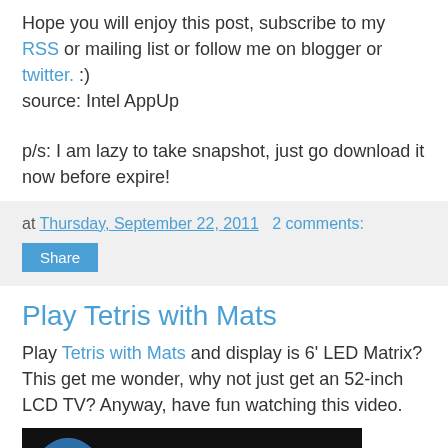Hope you will enjoy this post, subscribe to my RSS or mailing list or follow me on blogger or twitter. :)
source: Intel AppUp
p/s: I am lazy to take snapshot, just go download it now before expire!
at Thursday, September 22, 2011   2 comments:
Share
Play Tetris with Mats
Play Tetris with Mats and display is 6' LED Matrix? This get me wonder, why not just get an 52-inch LCD TV? Anyway, have fun watching this video.
[Figure (screenshot): YouTube video thumbnail showing MIT DDR Tetris with avatar and title]